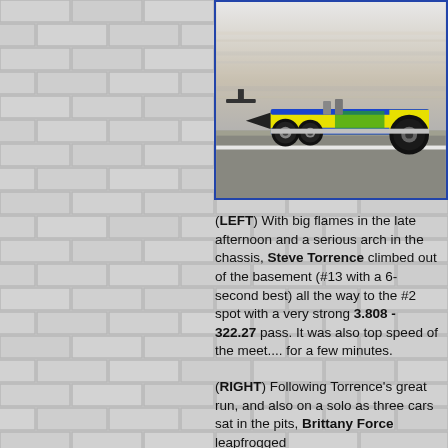[Figure (photo): A yellow NHRA Top Fuel dragster racing at high speed with motion blur in the background. The car is brightly colored in yellow with green Monster Energy and other sponsor decals.]
(LEFT) With big flames in the late afternoon and a serious arch in the chassis, Steve Torrence climbed out of the basement (#13 with a 6-second best) all the way to the #2 spot with a very strong 3.808 - 322.27 pass. It was also top speed of the meet.... for a few minutes.
(RIGHT) Following Torrence's great run, and also on a solo as three cars sat in the pits, Brittany Force leapfrogged